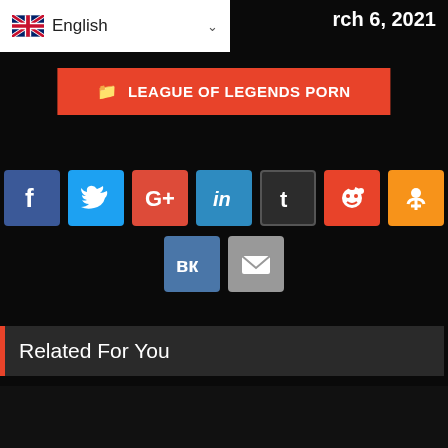English — March 6, 2021
LEAGUE OF LEGENDS PORN
[Figure (infographic): Social media share buttons: Facebook, Twitter, Google+, LinkedIn, Tumblr, Reddit, Odnoklassniki, VK, Email]
Related For You